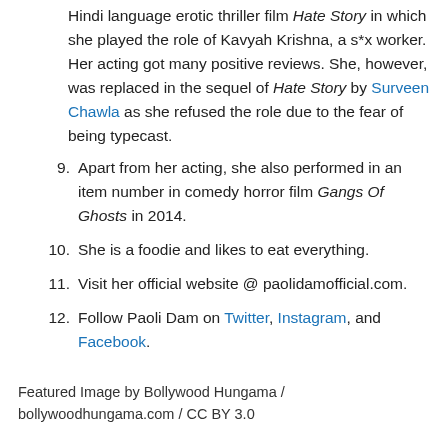Hindi language erotic thriller film Hate Story in which she played the role of Kavyah Krishna, a s*x worker. Her acting got many positive reviews. She, however, was replaced in the sequel of Hate Story by Surveen Chawla as she refused the role due to the fear of being typecast.
9. Apart from her acting, she also performed in an item number in comedy horror film Gangs Of Ghosts in 2014.
10. She is a foodie and likes to eat everything.
11. Visit her official website @ paolidamofficial.com.
12. Follow Paoli Dam on Twitter, Instagram, and Facebook.
Featured Image by Bollywood Hungama / bollywoodhungama.com / CC BY 3.0
TAGS  Actress  Indian  Libra  Paoli Dam  TV Star